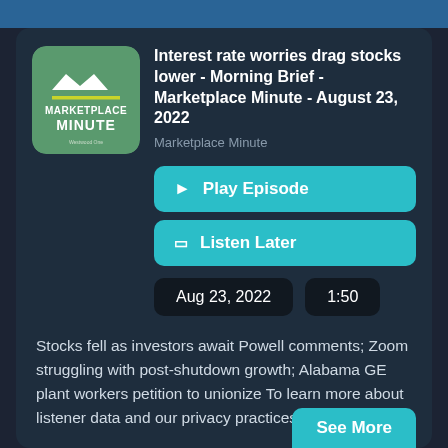[Figure (logo): Marketplace Minute podcast logo — green background with white text reading MARKETPLACE MINUTE, a crown/M shape icon, yellow horizontal line, and small text Westwood One at bottom]
Interest rate worries drag stocks lower - Morning Brief - Marketplace Minute - August 23, 2022
Marketplace Minute
▶ Play Episode
🔖 Listen Later
Aug 23, 2022
1:50
Stocks fell as investors await Powell comments; Zoom struggling with post-shutdown growth; Alabama GE plant workers petition to unionize To learn more about listener data and our privacy practices visit:
See More